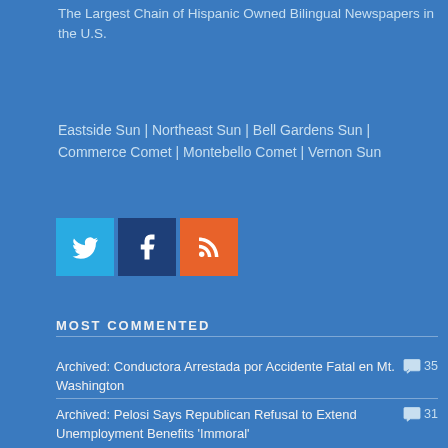The Largest Chain of Hispanic Owned Bilingual Newspapers in the U.S.
Eastside Sun | Northeast Sun | Bell Gardens Sun | Commerce Comet | Montebello Comet | Vernon Sun
[Figure (infographic): Social media icons: Twitter (light blue), Facebook (dark blue), RSS (orange)]
MOST COMMENTED
Archived: Conductora Arrestada por Accidente Fatal en Mt. Washington
35
Archived: Pelosi Says Republican Refusal to Extend Unemployment Benefits 'Immoral'
31